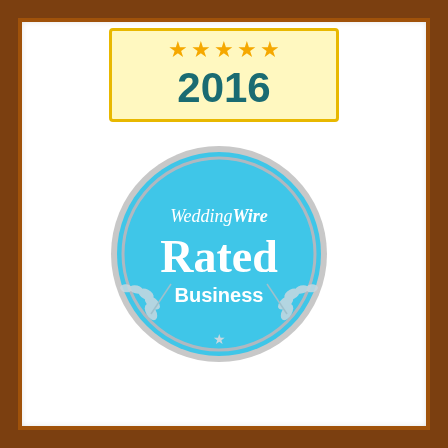[Figure (logo): Award plaque with wooden frame containing two badges: a 2016 five-star award badge with gold stars on yellow background, and a WeddingWire Rated Business circular badge in sky blue with gray border and wheat laurel decoration.]